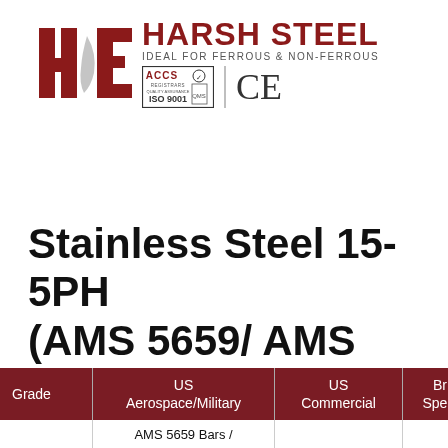[Figure (logo): Harsh Steel company logo with HS monogram in dark red, text HARSH STEEL, tagline IDEAL FOR FERROUS & NON-FERROUS, ISO 9001 ACCS certification mark, and CE mark]
Stainless Steel 15-5PH (AMS 5659/ AMS 5862)
| Grade | US Aerospace/Military | US Commercial | British Specifications |
| --- | --- | --- | --- |
|  | AMS 5659 Bars / |  |  |